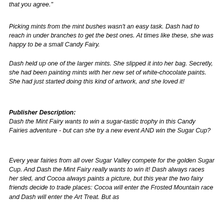that you agree."
Picking mints from the mint bushes wasn't an easy task. Dash had to reach in under branches to get the best ones. At times like these, she was happy to be a small Candy Fairy.
Dash held up one of the larger mints. She slipped it into her bag. Secretly, she had been painting mints with her new set of white-chocolate paints. She had just started doing this kind of artwork, and she loved it!
Publisher Description:
Dash the Mint Fairy wants to win a sugar-tastic trophy in this Candy Fairies adventure - but can she try a new event AND win the Sugar Cup?
Every year fairies from all over Sugar Valley compete for the golden Sugar Cup. And Dash the Mint Fairy really wants to win it! Dash always races her sled, and Cocoa always paints a picture, but this year the two fairy friends decide to trade places: Cocoa will enter the Frosted Mountain race and Dash will enter the Art Treat. But as